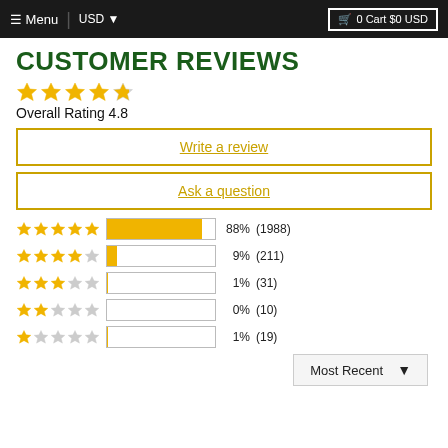Menu | USD  0 Cart $0 USD
CUSTOMER REVIEWS
Overall Rating 4.8
Write a review
Ask a question
[Figure (bar-chart): Rating distribution]
Most Recent